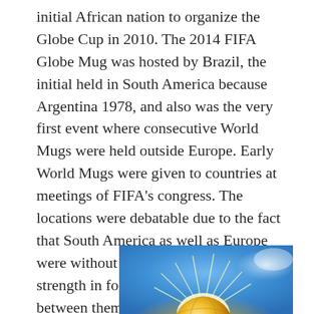initial African nation to organize the Globe Cup in 2010. The 2014 FIFA Globe Mug was hosted by Brazil, the initial held in South America because Argentina 1978, and also was the very first event where consecutive World Mugs were held outside Europe. Early World Mugs were given to countries at meetings of FIFA's congress. The locations were debatable due to the fact that South America as well as Europe were without a doubt both centres of strength in football and also traveling in between them called for three weeks by watercraft.
[Figure (photo): Partial view of a golden globe or trophy with bright sun rays radiating from behind it against a blue sky with white clouds in the background.]